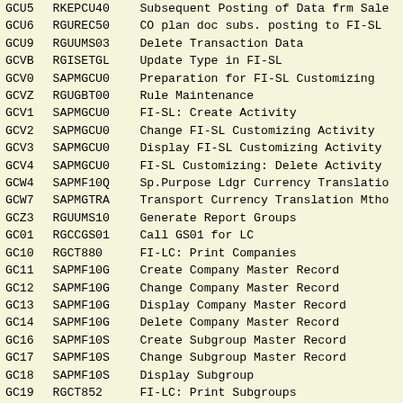| Code | Program | Description |
| --- | --- | --- |
| GCU5 | RKEPCU40 | Subsequent Posting of Data frm Sale |
| GCU6 | RGUREC50 | CO plan doc subs. posting to FI-SL |
| GCU9 | RGUUMS03 | Delete Transaction Data |
| GCVB | RGISETGL | Update Type in FI-SL |
| GCV0 | SAPMGCU0 | Preparation for FI-SL Customizing |
| GCVZ | RGUGBT00 | Rule Maintenance |
| GCV1 | SAPMGCU0 | FI-SL: Create Activity |
| GCV2 | SAPMGCU0 | Change FI-SL Customizing Activity |
| GCV3 | SAPMGCU0 | Display FI-SL Customizing Activity |
| GCV4 | SAPMGCU0 | FI-SL Customizing: Delete Activity |
| GCW4 | SAPMF10Q | Sp.Purpose Ldgr Currency Translatio |
| GCW7 | SAPMGTRA | Transport Currency Translation Mtho |
| GCZ3 | RGUUMS10 | Generate Report Groups |
| GC01 | RGCCGS01 | Call GS01 for LC |
| GC10 | RGCT880 | FI-LC: Print Companies |
| GC11 | SAPMF10G | Create Company Master Record |
| GC12 | SAPMF10G | Change Company Master Record |
| GC13 | SAPMF10G | Display Company Master Record |
| GC14 | SAPMF10G | Delete Company Master Record |
| GC16 | SAPMF10S | Create Subgroup Master Record |
| GC17 | SAPMF10S | Change Subgroup Master Record |
| GC18 | SAPMF10S | Display Subgroup |
| GC19 | RGCT852 | FI-LC: Print Subgroups |
| GC21 | SAPMF10I | Enter Individual Fin.Statement Data |
| GC22 | SAPMF10I | Display Individual Fin. Stmt Data |
| GC23 | SAPMF10B | FI-LC: Document Entry |
| GC24 | RGCSHD00 | FI-LC: Display Document |
| GC25 | SAPMSNUM | Maintain Consolidation Number Range |
| GC26 | SAPMK21L | FI-LC: Journal Entry Report |
| GC27 | SAPMV76A | FI-LC: Customize Journal Entry Rep |